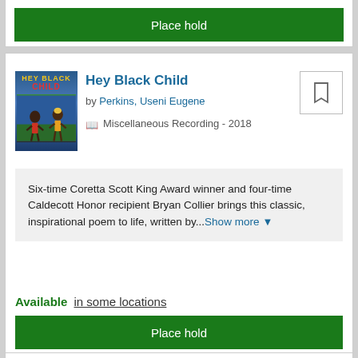Place hold
Hey Black Child
by Perkins, Useni Eugene
Miscellaneous Recording - 2018
Six-time Coretta Scott King Award winner and four-time Caldecott Honor recipient Bryan Collier brings this classic, inspirational poem to life, written by...Show more
Available in some locations
Place hold